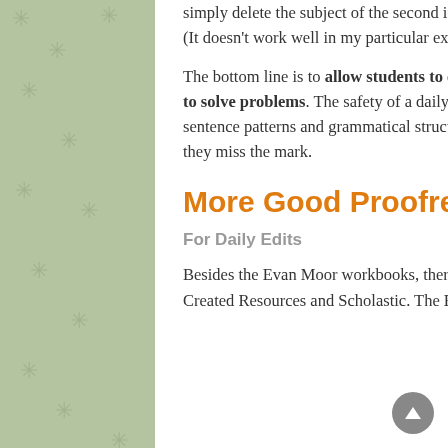simply delete the subject of the second independent clause and make a sentence with a compound verb. (It doesn't work well in my particular example, though.)
The bottom line is to allow students to experiment with language and come up with different ways to solve problems. The safety of a daily proofreading exercise is a perfect avenue for trying out new sentence patterns and grammatical structures. So encourage children to try and gently correct them when they miss the mark.
More Good Proofreading Workbooks
For Daily Edits
Besides the Evan Moor workbooks, there are other good editing practice books made by Teacher Created Resources and Scholastic. The Editor in Chief series is another daily